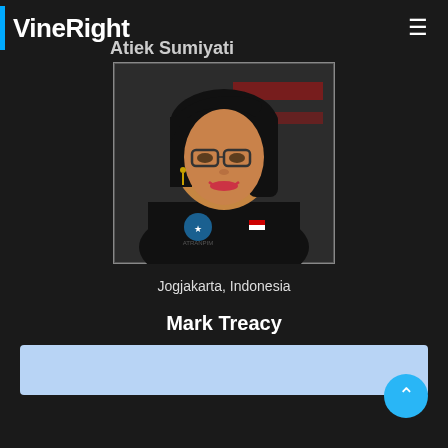Carver, MA
VineRight
Atiek Sumiyati
[Figure (photo): Woman with black hair, glasses, wearing a black jacket with a badge/logo, smiling at camera]
Jogjakarta, Indonesia
Mark Treacy